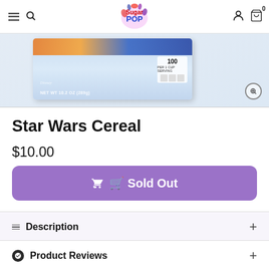SugarPop store header with navigation menu, search, logo, account and cart icons
[Figure (photo): Star Wars Cereal box product image, light blue box with Disney branding, NET WT 10.2 OZ (289g), nutritional info panel visible, zoom icon overlay]
Star Wars Cereal
$10.00
Sold Out
Description
Product Reviews